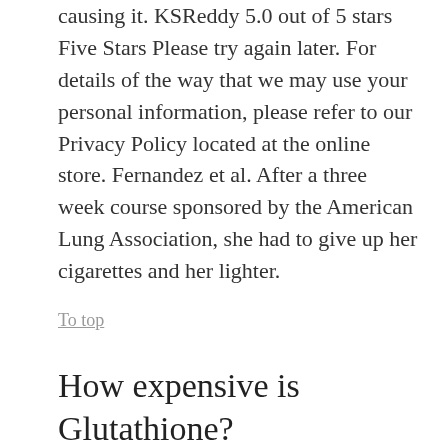causing it. KSReddy 5.0 out of 5 stars Five Stars Please try again later. For details of the way that we may use your personal information, please refer to our Privacy Policy located at the online store. Fernandez et al. After a three week course sponsored by the American Lung Association, she had to give up her cigarettes and her lighter.
To top
How expensive is Glutathione?